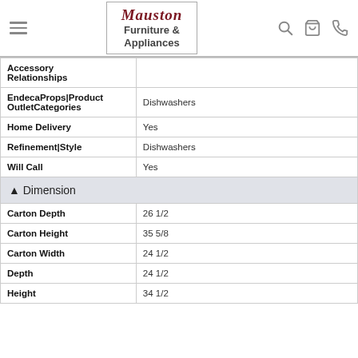Mauston Furniture & Appliances
| Property | Value |
| --- | --- |
| Accessory Relationships |  |
| EndecaProps|Product OutletCategories | Dishwashers |
| Home Delivery | Yes |
| Refinement|Style | Dishwashers |
| Will Call | Yes |
| ▲ Dimension |  |
| Carton Depth | 26 1/2 |
| Carton Height | 35 5/8 |
| Carton Width | 24 1/2 |
| Depth | 24 1/2 |
| Height | 34 1/2 |